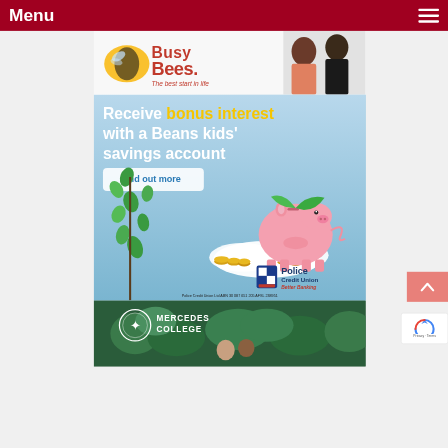Menu
[Figure (photo): Busy Bees logo with tagline 'The best start in life' and children in background]
[Figure (infographic): Police Credit Union advertisement: 'Receive bonus interest with a Beans kids' savings account' with Find out more button, piggy bank on cloud with coins and green plant, Police Credit Union Better Banking logo, disclaimer text: Police Credit Union Ltd ABN 30 087 651 205 AFSL 238951]
[Figure (photo): Mercedes College banner with logo showing fleur-de-lis and text 'MERCEDES COLLEGE' over green foliage background with children]